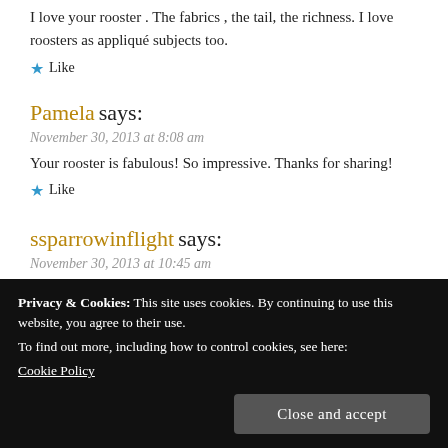I love your rooster . The fabrics , the tail, the richness. I love roosters as appliqué subjects too.
★ Like
Pamela says:
November 30, 2013 at 8:08 am
Your rooster is fabulous! So impressive. Thanks for sharing!
★ Like
ssparrowinflight says:
November 30, 2013 at 10:45 am
Privacy & Cookies: This site uses cookies. By continuing to use this website, you agree to their use.
To find out more, including how to control cookies, see here:
Cookie Policy
Close and accept
Linda J says: